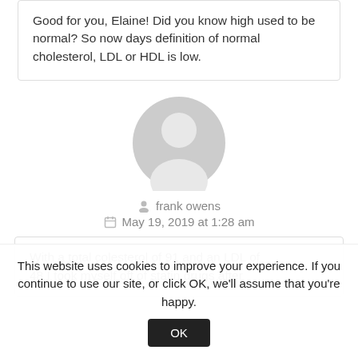Good for you, Elaine! Did you know high used to be normal? So now days definition of normal cholesterol, LDL or HDL is low.
[Figure (illustration): Generic user avatar icon - grey circle with person silhouette]
frank owens
May 19, 2019 at 1:28 am
With a total colesterol of 91 and an LDL of 48 I took myself off of statin drugs after
This website uses cookies to improve your experience. If you continue to use our site, or click OK, we'll assume that you're happy.